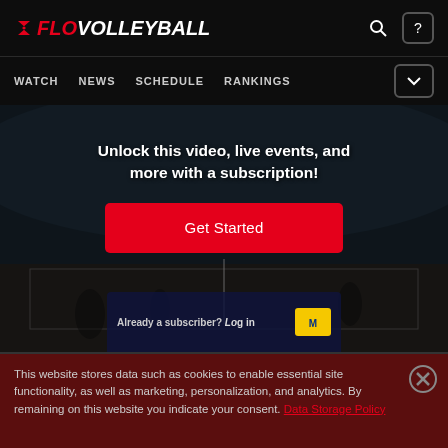[Figure (screenshot): FloVolleyball website header with logo, navigation links (WATCH, NEWS, SCHEDULE, RANKINGS), search icon, and help icon]
Unlock this video, live events, and more with a subscription!
Get Started
Already a subscriber? Log in
This website stores data such as cookies to enable essential site functionality, as well as marketing, personalization, and analytics. By remaining on this website you indicate your consent. Data Storage Policy